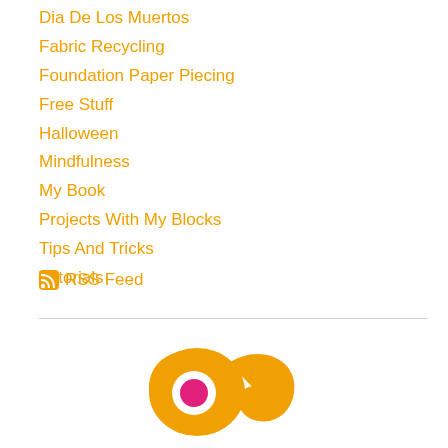Dia De Los Muertos
Fabric Recycling
Foundation Paper Piecing
Free Stuff
Halloween
Mindfulness
My Book
Projects With My Blocks
Tips And Tricks
Tutorials
RSS Feed
[Figure (logo): Orange paisley/teardrop shaped logo with a magenta circle in the center]